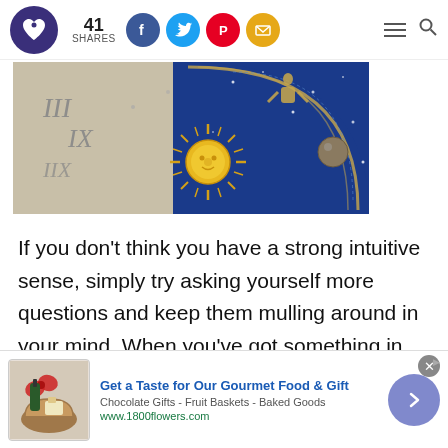41 SHARES | Social share icons | Menu | Search
[Figure (photo): Ornate astronomical clock face with Roman numerals, golden sun motif, and deep blue zodiac dial with gold star/planet decorations]
If you don't think you have a strong intuitive sense, simply try asking yourself more questions and keep them mulling around in your mind. When you've got something in the back of your mind, something persisting
[Figure (infographic): Advertisement banner: Get a Taste for Our Gourmet Food & Gift - Chocolate Gifts - Fruit Baskets - Baked Goods - www.1800flowers.com, with food basket image and navigation arrow]